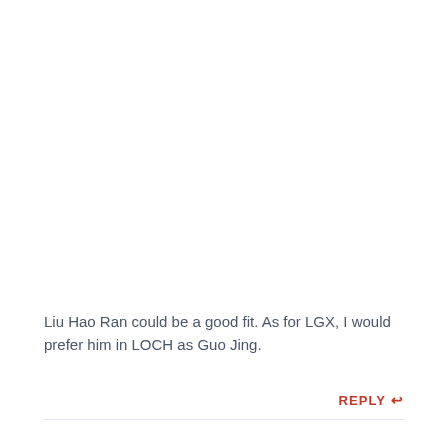Liu Hao Ran could be a good fit. As for LGX, I would prefer him in LOCH as Guo Jing.
REPLY ↩